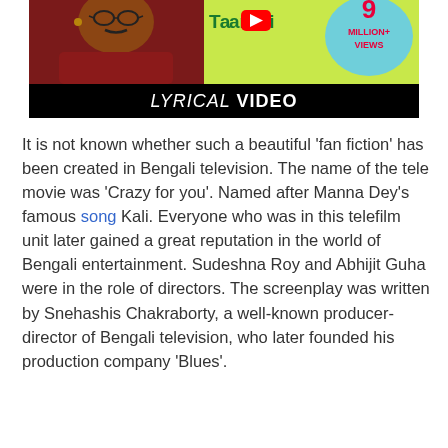[Figure (screenshot): YouTube lyrical video thumbnail featuring a man in a dark red outfit, with 'Tatamarani' text in green, a YouTube play button icon, a speech bubble showing '9 MILLION+ VIEWS', and a black banner at the bottom reading 'LYRICAL VIDEO'.]
It is not known whether such a beautiful 'fan fiction' has been created in Bengali television. The name of the tele movie was 'Crazy for you'. Named after Manna Dey's famous song Kali. Everyone who was in this telefilm unit later gained a great reputation in the world of Bengali entertainment. Sudeshna Roy and Abhijit Guha were in the role of directors. The screenplay was written by Snehashis Chakraborty, a well-known producer-director of Bengali television, who later founded his production company 'Blues'.